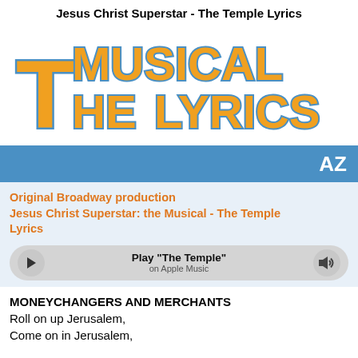Jesus Christ Superstar - The Temple Lyrics
[Figure (logo): The Musical The Lyrics logo in orange hand-drawn style text on white background]
[Figure (infographic): Blue banner with white AZ text on the right]
Original Broadway production Jesus Christ Superstar: the Musical - The Temple Lyrics
[Figure (infographic): Music player bar with play button, Play "The Temple" on Apple Music text, and speaker icon]
MONEYCHANGERS AND MERCHANTS
Roll on up Jerusalem,
Come on in Jerusalem,